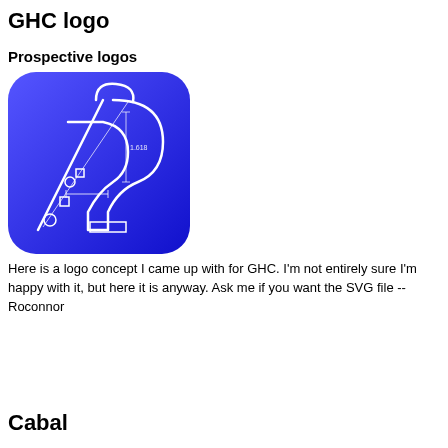GHC logo
Prospective logos
[Figure (logo): GHC logo concept: a blue rounded-rectangle background with a blue-to-dark-blue gradient containing a white lambda (λ) symbol drawn in an engineering/blueprint style with construction lines, circles, squares, and dimension markers.]
Here is a logo concept I came up with for GHC. I'm not entirely sure I'm happy with it, but here it is anyway. Ask me if you want the SVG file -- Roconnor
Cabal